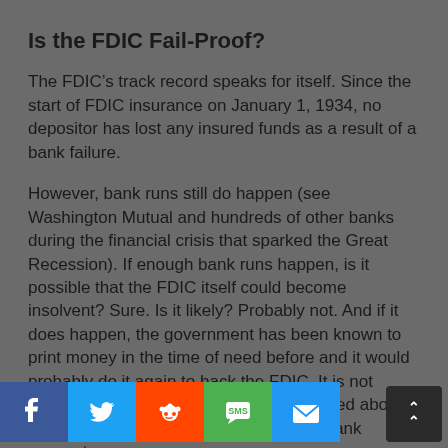Is the FDIC Fail-Proof?
The FDIC’s track record speaks for itself. Since the start of FDIC insurance on January 1, 1934, no depositor has lost any insured funds as a result of a bank failure.
However, bank runs still do happen (see Washington Mutual and hundreds of other banks during the financial crisis that sparked the Great Recession). If enough bank runs happen, is it possible that the FDIC itself could become insolvent? Sure. Is it likely? Probably not. And if it does happen, the government has been known to print money in the time of need before and it would probably do it again to back the FDIC. It is not something I would personally be concerned about. Besides, most of your investments, not bank accounts earning 0 – 1% interest!